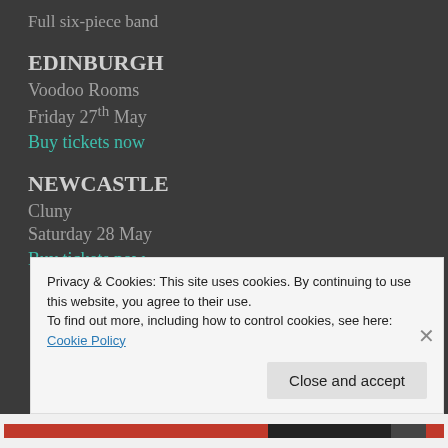Full six-piece band
EDINBURGH
Voodoo Rooms
Friday 27th May
Buy tickets now
NEWCASTLE
Cluny
Saturday 28 May
Buy tickets now
Privacy & Cookies: This site uses cookies. By continuing to use this website, you agree to their use.
To find out more, including how to control cookies, see here: Cookie Policy
Close and accept